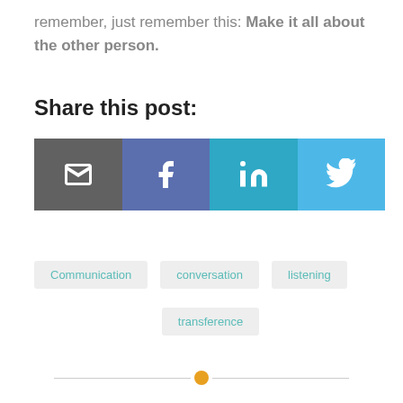remember, just remember this: Make it all about the other person.
Share this post:
[Figure (infographic): Four social sharing buttons: Email (dark grey), Facebook (blue-purple), LinkedIn (teal), Twitter (light blue), each with white icon]
Communication
conversation
listening
transference